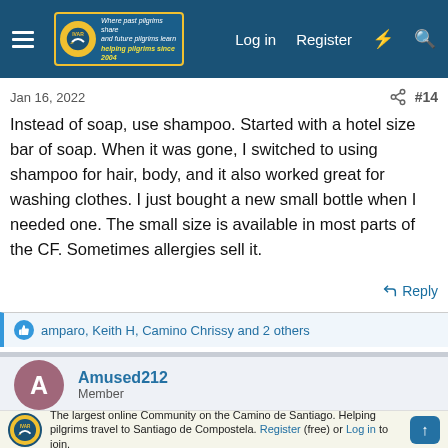Log in  Register
Jan 16, 2022  #14
Instead of soap, use shampoo. Started with a hotel size bar of soap. When it was gone, I switched to using shampoo for hair, body, and it also worked great for washing clothes. I just bought a new small bottle when I needed one. The small size is available in most parts of the CF. Sometimes allergies sell it.
↩ Reply
👍 amparo, Keith H, Camino Chrissy and 2 others
Amused212
Member
The largest online Community on the Camino de Santiago. Helping pilgrims travel to Santiago de Compostela. Register (free) or Log in to join.